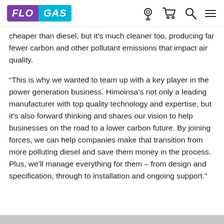[Figure (logo): Flogas logo: FLO in purple rectangle and GAS in cyan rectangle, italic bold text]
cheaper than diesel, but it's much cleaner too, producing far fewer carbon and other pollutant emissions that impact air quality.
“This is why we wanted to team up with a key player in the power generation business. Himoinsa’s not only a leading manufacturer with top quality technology and expertise, but it’s also forward thinking and shares our vision to help businesses on the road to a lower carbon future. By joining forces, we can help companies make that transition from more polluting diesel and save them money in the process. Plus, we’ll manage everything for them – from design and specification, through to installation and ongoing support.”